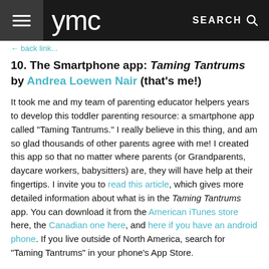ymc  SEARCH
← back link (truncated)
10. The Smartphone app: Taming Tantrums by Andrea Loewen Nair (that's me!)
It took me and my team of parenting educator helpers years to develop this toddler parenting resource: a smartphone app called "Taming Tantrums." I really believe in this thing, and am so glad thousands of other parents agree with me! I created this app so that no matter where parents (or Grandparents, daycare workers, babysitters) are, they will have help at their fingertips. I invite you to read this article, which gives more detailed information about what is in the Taming Tantrums app. You can download it from the American iTunes store here, the Canadian one here, and here if you have an android phone. If you live outside of North America, search for "Taming Tantrums" in your phone's App Store.